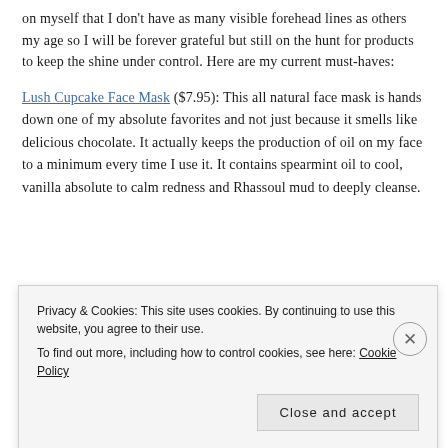on myself that I don't have as many visible forehead lines as others my age so I will be forever grateful but still on the hunt for products to keep the shine under control. Here are my current must-haves:
Lush Cupcake Face Mask ($7.95): This all natural face mask is hands down one of my absolute favorites and not just because it smells like delicious chocolate. It actually keeps the production of oil on my face to a minimum every time I use it. It contains spearmint oil to cool, vanilla absolute to calm redness and Rhassoul mud to deeply cleanse.
B... s... a... (partially obscured by cookie banner)
Privacy & Cookies: This site uses cookies. By continuing to use this website, you agree to their use. To find out more, including how to control cookies, see here: Cookie Policy
Close and accept